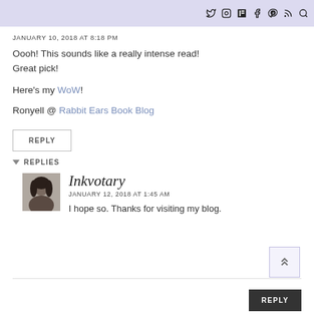Social media icons: Twitter, Instagram, RSS/bookmark, Facebook, Pinterest, Feed, Search
JANUARY 10, 2018 AT 8:18 PM
Oooh! This sounds like a really intense read! Great pick!
Here's my WoW!
Ronyell @ Rabbit Ears Book Blog
REPLY
REPLIES
[Figure (photo): Avatar photo of Inkvotary commenter - woman with dark hair]
Inkvotary
JANUARY 12, 2018 AT 1:45 AM
I hope so. Thanks for visiting my blog.
REPLY